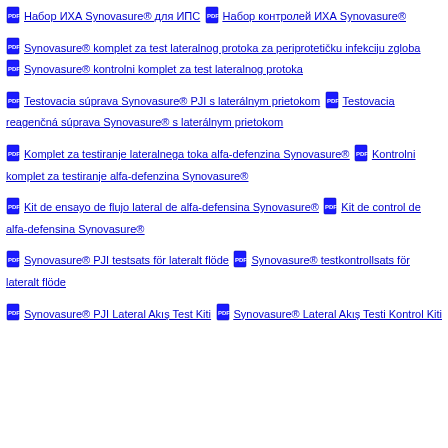Набор ИХА Synovasure® для ИПС  Набор контролей ИХА Synovasure®
Synovasure® komplet za test lateralnog protoka za periprotetičku infekciju zgloba  Synovasure® kontrolni komplet za test lateralnog protoka
Testovacia súprava Synovasure® PJI s laterálnym prietokom  Testovacia reagenčná súprava Synovasure® s laterálnym prietokom
Komplet za testiranje lateralnega toka alfa-defenzina Synovasure®  Kontrolni komplet za testiranje alfa-defenzina Synovasure®
Kit de ensayo de flujo lateral de alfa-defensina Synovasure®  Kit de control de alfa-defensina Synovasure®
Synovasure® PJI testsats för lateralt flöde  Synovasure® testkontrollsats för lateralt flöde
Synovasure® PJI Lateral Akış Test Kiti  Synovasure® Lateral Akış Testi Kontrol Kiti